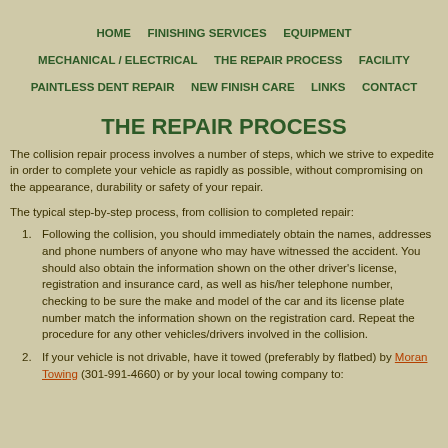HOME   FINISHING SERVICES   EQUIPMENT   MECHANICAL / ELECTRICAL   THE REPAIR PROCESS   FACILITY   PAINTLESS DENT REPAIR   NEW FINISH CARE   LINKS   CONTACT
THE REPAIR PROCESS
The collision repair process involves a number of steps, which we strive to expedite in order to complete your vehicle as rapidly as possible, without compromising on the appearance, durability or safety of your repair.
The typical step-by-step process, from collision to completed repair:
Following the collision, you should immediately obtain the names, addresses and phone numbers of anyone who may have witnessed the accident. You should also obtain the information shown on the other driver's license, registration and insurance card, as well as his/her telephone number, checking to be sure the make and model of the car and its license plate number match the information shown on the registration card. Repeat the procedure for any other vehicles/drivers involved in the collision.
If your vehicle is not drivable, have it towed (preferably by flatbed) by Moran Towing (301-991-4660) or by your local towing company to: